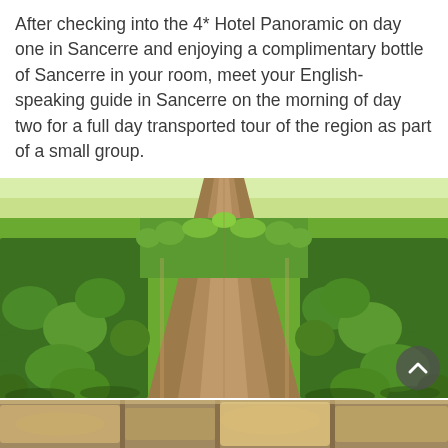After checking into the 4* Hotel Panoramic on day one in Sancerre and enjoying a complimentary bottle of Sancerre in your room, meet your English-speaking guide in Sancerre on the morning of day two for a full day transported tour of the region as part of a small group.
[Figure (photo): Rows of grapevines in a sunlit vineyard stretching into the distance with a dirt path running down the centre, lush green foliage on both sides.]
[Figure (photo): Close-up of rough stone wall or rocks, partial view at bottom of page, warm sandy/ochre tones.]